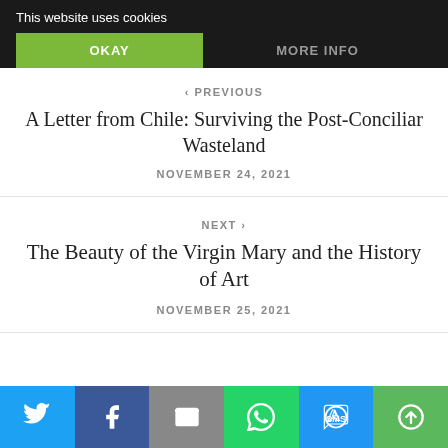This website uses cookies
OKAY
MORE INFO
‹ PREVIOUS
A Letter from Chile: Surviving the Post-Conciliar Wasteland
NOVEMBER 24, 2021
NEXT ›
The Beauty of the Virgin Mary and the History of Art
NOVEMBER 25, 2021
Twitter | Facebook | Email | WhatsApp | SMS | More